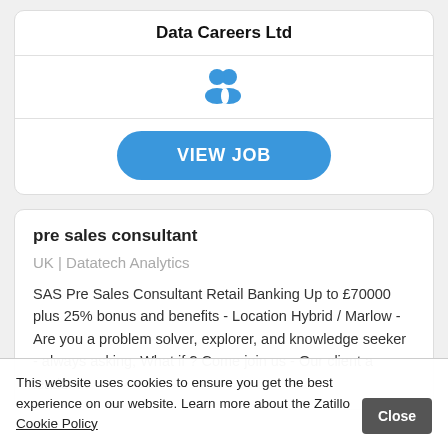Data Careers Ltd
[Figure (illustration): Two people/users icon in blue]
VIEW JOB
pre sales consultant
UK | Datatech Analytics
SAS Pre Sales Consultant Retail Banking Up to £70000 plus 25% bonus and benefits - Location Hybrid / Marlow - Are you a problem solver, explorer, and knowledge seeker - always asking, What if ? Come join us - Our client a leader in
This website uses cookies to ensure you get the best experience on our website. Learn more about the Zatillo Cookie Policy